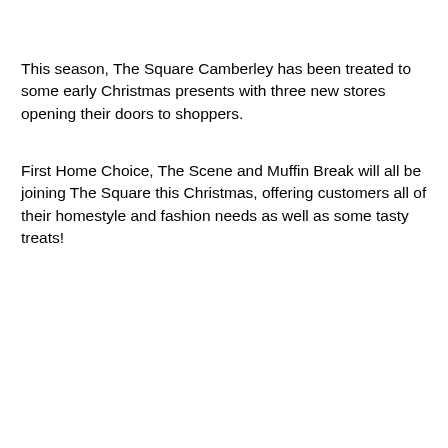This season, The Square Camberley has been treated to some early Christmas presents with three new stores opening their doors to shoppers.
First Home Choice, The Scene and Muffin Break will all be joining The Square this Christmas, offering customers all of their homestyle and fashion needs as well as some tasty treats!